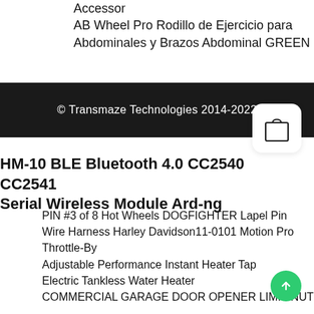Accessor
AB Wheel Pro Rodillo de Ejercicio para Abdominales y Brazos Abdominal GREEN
© Transmaze Technologies 2014-2022
HM-10 BLE Bluetooth 4.0 CC2540 CC2541 Serial Wireless Module Ard-ng
PIN #3 of 8 Hot Wheels DOGFIGHTER Lapel Pin
Wire Harness Harley Davidson11-0101 Motion Pro Throttle-By
Adjustable Performance Instant Heater Tap Electric Tankless Water Heater
COMMERCIAL GARAGE DOOR OPENER LIMIT NUT 13-